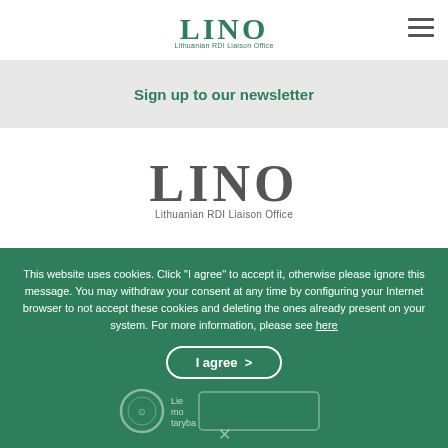[Figure (logo): LINO Lithuanian RDI Liaison Office logo in green, top header]
[Figure (logo): Hamburger menu icon (three horizontal lines) in top right]
Sign up to our newsletter
[Figure (logo): LINO Lithuanian RDI Liaison Office logo in gray, center of page]
This website uses cookies. Click "I agree" to accept it, otherwise please ignore this message. You may withdraw your consent at any time by configuring your Internet browser to not accept these cookies and deleting the ones already present on your system. For more information, please see here
I agree  >
[Figure (logo): Lithuanian Science Council emblem and text logo in footer area of cookie overlay]